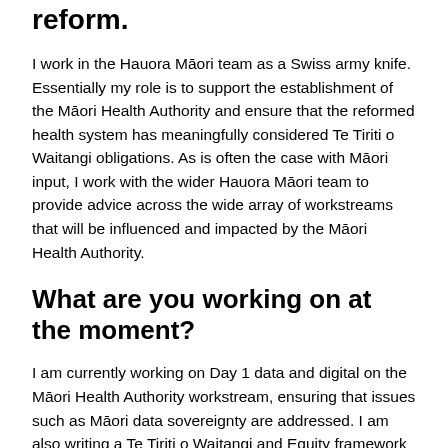reform.
I work in the Hauora Māori team as a Swiss army knife. Essentially my role is to support the establishment of the Māori Health Authority and ensure that the reformed health system has meaningfully considered Te Tiriti o Waitangi obligations. As is often the case with Māori input, I work with the wider Hauora Māori team to provide advice across the wide array of workstreams that will be influenced and impacted by the Māori Health Authority.
What are you working on at the moment?
I am currently working on Day 1 data and digital on the Māori Health Authority workstream, ensuring that issues such as Māori data sovereignty are addressed. I am also writing a Te Tiriti o Waitangi and Equity framework to support all workstreams in considering whether they have adequately considered and integrated equity and Te